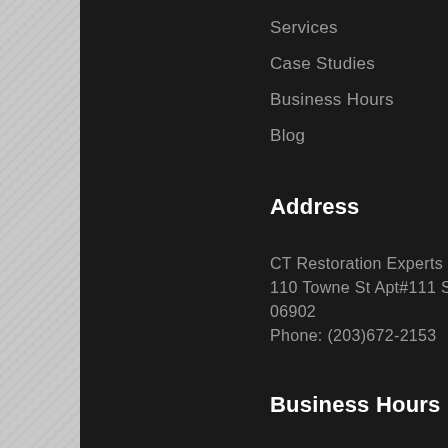Services
Case Studies
Business Hours
Blog
Address
CT Restoration Experts
110 Towne St Apt#111 Stamford, CT 06902
Phone: (203)672-2153
Business Hours
Monday    24 Hours - 24 Hours
Tuesday    24 Hours - 24 Hours
Wednesday    24 Hours - 24 Hours